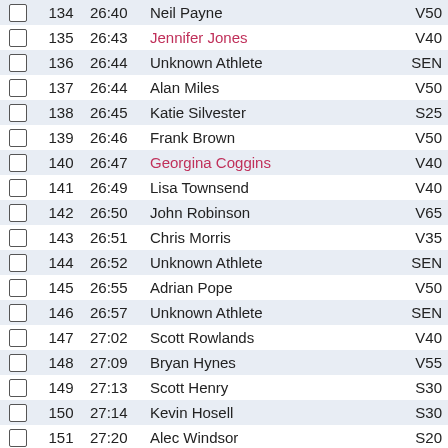|  | Pos | Time | Name | Cat |
| --- | --- | --- | --- | --- |
|  | 134 | 26:40 | Neil Payne | V50 |
|  | 135 | 26:43 | Jennifer Jones | V40 |
|  | 136 | 26:44 | Unknown Athlete | SEN |
|  | 137 | 26:44 | Alan Miles | V50 |
|  | 138 | 26:45 | Katie Silvester | S25 |
|  | 139 | 26:46 | Frank Brown | V50 |
|  | 140 | 26:47 | Georgina Coggins | V40 |
|  | 141 | 26:49 | Lisa Townsend | V40 |
|  | 142 | 26:50 | John Robinson | V65 |
|  | 143 | 26:51 | Chris Morris | V35 |
|  | 144 | 26:52 | Unknown Athlete | SEN |
|  | 145 | 26:55 | Adrian Pope | V50 |
|  | 146 | 26:57 | Unknown Athlete | SEN |
|  | 147 | 27:02 | Scott Rowlands | V40 |
|  | 148 | 27:09 | Bryan Hynes | V55 |
|  | 149 | 27:13 | Scott Henry | S30 |
|  | 150 | 27:14 | Kevin Hosell | S30 |
|  | 151 | 27:20 | Alec Windsor | S20 |
|  | 152 | 27:24 | Alison Bhageerutty | V40 |
|  | 153 | 27:25 | Max Lees | U11 |